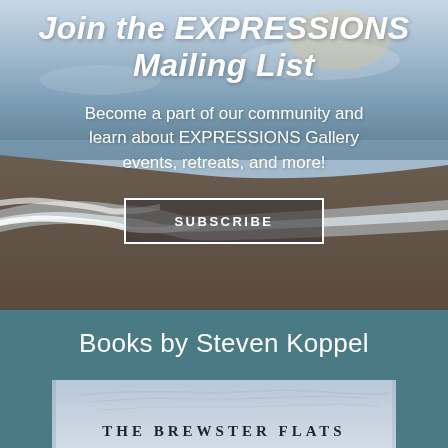[Figure (photo): Beach scene with ocean waves on sandy shore, soft blue-grey sky and water, used as background for mailing list promo]
Join the EXPRESSIONS Mailing List
Become a part of our community and learn about EXPRESSIONS Gallery events, retreats, and more!
SUBSCRIBE
Books by Steven Koppel
[Figure (photo): Book cover for 'The Brewster Flats' showing a wide beach sky scene, partially visible at bottom of page]